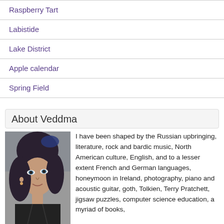Raspberry Tart
Labistide
Lake District
Apple calendar
Spring Field
About Veddma
[Figure (photo): Portrait photo of a woman with dark hair and blue hair accessory, wearing dark clothing, looking to the side]
I have been shaped by the Russian upbringing, literature, rock and bardic music, North American culture, English, and to a lesser extent French and German languages, honeymoon in Ireland, photography, piano and acoustic guitar, goth, Tolkien, Terry Pratchett, jigsaw puzzles, computer science education, a myriad of books, authors, musicians, and lately - birth and motherhood. And now I am fingering zen.